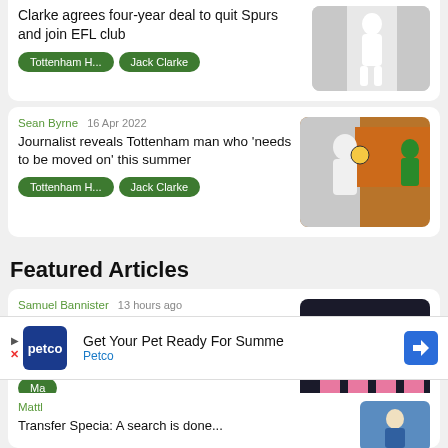Clarke agrees four-year deal to quit Spurs and join EFL club
Tottenham H... | Jack Clarke
Sean Byrne  16 Apr 2022
Journalist reveals Tottenham man who 'needs to be moved on' this summer
Tottenham H... | Jack Clarke
Featured Articles
Samuel Bannister  13 hours ago
Euro Paper Talk: New method emerges for Man Utd or Chelsea to clinch underappreciated €20m...
Ma
Mattl
Transfer Specia: A search is done...
[Figure (photo): Ad banner: petco logo, Get Your Pet Ready For Summe, Petco]
[Figure (photo): Soccer player in white kit heading ball]
[Figure (photo): Soccer players in pink Barcelona kit]
[Figure (photo): Partial bottom article image]